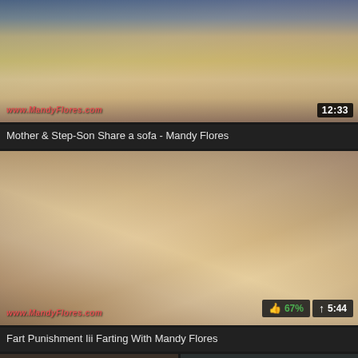[Figure (photo): Video thumbnail showing two people on a sofa, with watermark 'www.MandyFlores.com' and duration badge '12:33']
Mother & Step-Son Share a sofa - Mandy Flores
[Figure (photo): Video thumbnail showing two people, with watermark 'www.MandyFlores.com', like badge '67%' and upload arrow badge '5:44']
Fart Punishment Iii Farting With Mandy Flores